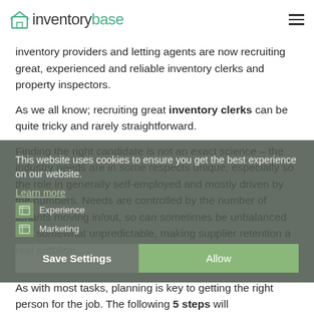inventorybase
inventory providers and letting agents are now recruiting great, experienced and reliable inventory clerks and property inspectors.
As we all know; recruiting great inventory clerks can be quite tricky and rarely straightforward.
Finding the right candidate is not an exact science – the industry needs are in some respects unique, especially so the role in generally self-employed and mostly driven by the numbers. Needs are controlled by the number of tenants moving in/out, so can sometimes be unbalanced and somewhat unpredictable, making supplier retention a real problem.
This website uses cookies to ensure you get the best experience on our website.
Learn more
Experience
Marketing
Save Settings    Allow
As with most tasks, planning is key to getting the right person for the job. The following 5 steps will